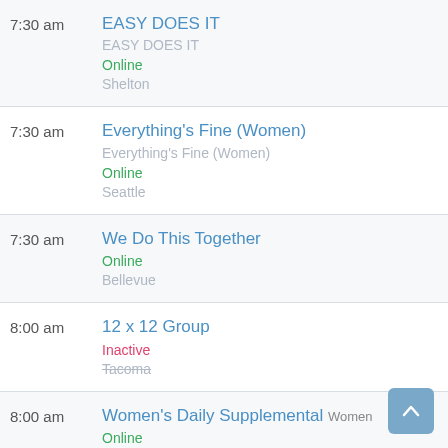7:30 am | EASY DOES IT | EASY DOES IT | Online | Shelton
7:30 am | Everything's Fine (Women) | Everything's Fine (Women) | Online | Seattle
7:30 am | We Do This Together | Online | Bellevue
8:00 am | 12 x 12 Group | Inactive | Tacoma
8:00 am | Women's Daily Supplemental (Women) | Online